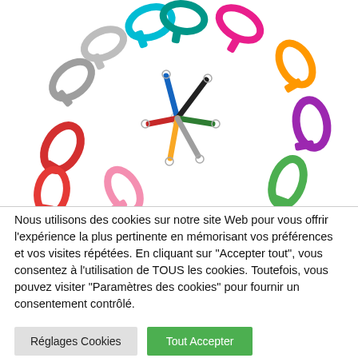[Figure (photo): Colorful carabiners arranged in a circular pattern around a center point, with various carabiners in red, pink, silver, cyan, teal, magenta, orange, purple, green colors radiating outward, and small metal clips arranged like clock hands in the center.]
Nous utilisons des cookies sur notre site Web pour vous offrir l'expérience la plus pertinente en mémorisant vos préférences et vos visites répétées. En cliquant sur "Accepter tout", vous consentez à l'utilisation de TOUS les cookies. Toutefois, vous pouvez visiter "Paramètres des cookies" pour fournir un consentement contrôlé.
Réglages Cookies
Tout Accepter